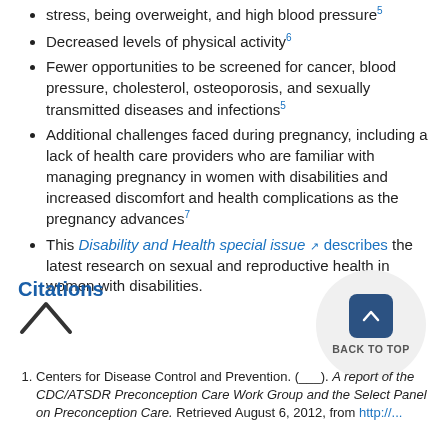stress, being overweight, and high blood pressure⁵
Decreased levels of physical activity⁶
Fewer opportunities to be screened for cancer, blood pressure, cholesterol, osteoporosis, and sexually transmitted diseases and infections⁵
Additional challenges faced during pregnancy, including a lack of health care providers who are familiar with managing pregnancy in women with disabilities and increased discomfort and health complications as the pregnancy advances⁷
This Disability and Health special issue [external link] describes the latest research on sexual and reproductive health in women with disabilities.
Citations
[Figure (other): Back to top button: a dark blue rounded square with an upward chevron arrow, inside a light grey circle, with text 'BACK TO TOP' below the button]
[Figure (other): Upward caret/chevron icon (back to top indicator)]
1. Centers for Disease Control and Prevention. (___). A report of the CDC/ATSDR Preconception Care Work Group and the Select Panel on Preconception Care. Retrieved August 6, 2012, from http://...